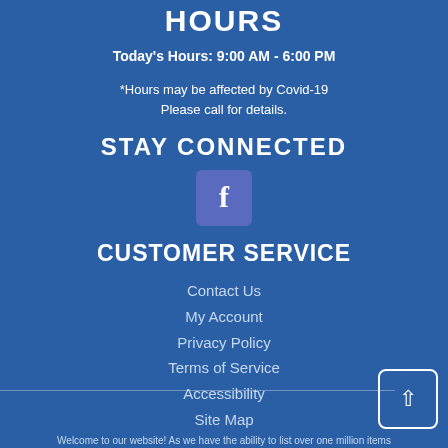HOURS
Today's Hours: 9:00 AM - 6:00 PM
*Hours may be affected by Covid-19 Please call for details.
STAY CONNECTED
[Figure (logo): Facebook icon - white 'f' on blue/purple rounded square background]
CUSTOMER SERVICE
Contact Us
My Account
Privacy Policy
Terms of Service
Accessibility
Site Map
Welcome to our website! As we have the ability to list over one million items